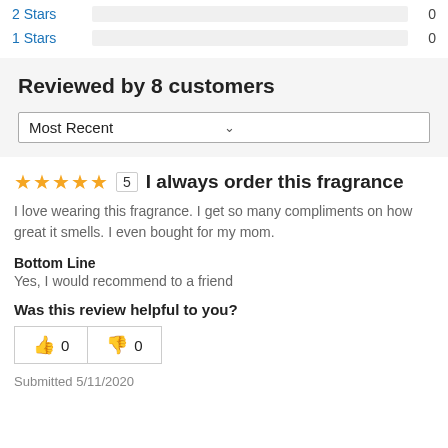2 Stars 0
1 Stars 0
Reviewed by 8 customers
Most Recent
★★★★★ 5 I always order this fragrance
I love wearing this fragrance. I get so many compliments on how great it smells. I even bought for my mom.
Bottom Line
Yes, I would recommend to a friend
Was this review helpful to you?
👍 0   👎 0
Submitted 5/11/2020